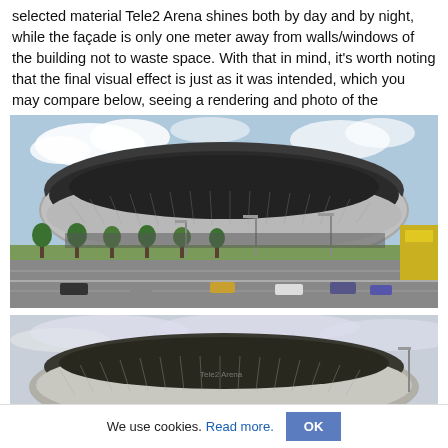selected material Tele2 Arena shines both by day and by night, while the façade is only one meter away from walls/windows of the building not to waste space. With that in mind, it's worth noting that the final visual effect is just as it was intended, which you may compare below, seeing a rendering and photo of the stadium.
[Figure (photo): Architectural rendering of Tele2 Arena stadium from street level, showing the distinctive oval shaped metallic facade with diamond pattern cladding, street lamps, trees, road with cars, and blue sky with clouds]
[Figure (photo): Photograph of Tele2 Arena stadium showing the actual built structure with the same diamond pattern metallic cladding, taken from a similar angle, with Tele2 Arena logo visible on the facade]
We use cookies. Read more. OK